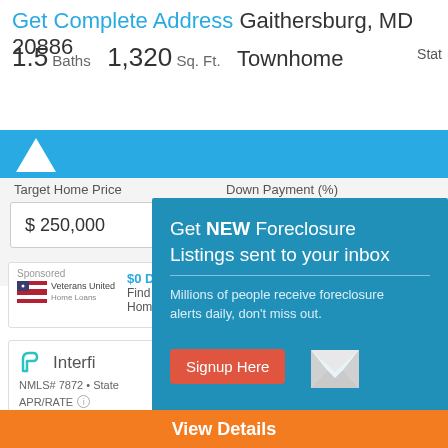Get Complete Address Gaithersburg, MD 20886
1.5 Baths  1,320 Sq. Ft.  Townhome  Stat
Target Home Price
Down Payment (%)
$ 250,000
20.00  %
Sponsored  Veterans United  $0 D  Find  Hom
Interfi  NMLS# 7872 • State
APR/RATE
5.614%
Rate: 5.614%
30 yr Fixed Conforming
Fees: $0
Points: 0.00
[Figure (screenshot): Popup overlay on real estate website promoting foreclosure listing alerts. Teal/blue background with white text: 'Get NEW Foreclosure Listings sent to your inbox'. Body text: 'Millions of people receive foreclosure alerts daily, don't miss out.' Red 'Signup Here' button. Envelope icon. 'No Thanks | Remind Me Later' link.]
No Thanks | Remind Me Later
View Details